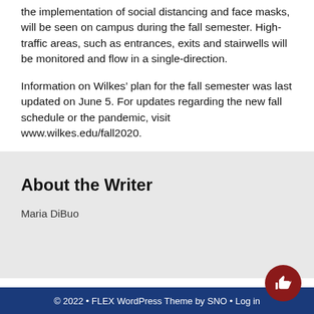the implementation of social distancing and face masks, will be seen on campus during the fall semester. High-traffic areas, such as entrances, exits and stairwells will be monitored and flow in a single-direction.
Information on Wilkes’ plan for the fall semester was last updated on June 5. For updates regarding the new fall schedule or the pandemic, visit www.wilkes.edu/fall2020.
About the Writer
Maria DiBuo
© 2022 • FLEX WordPress Theme by SNO • Log in